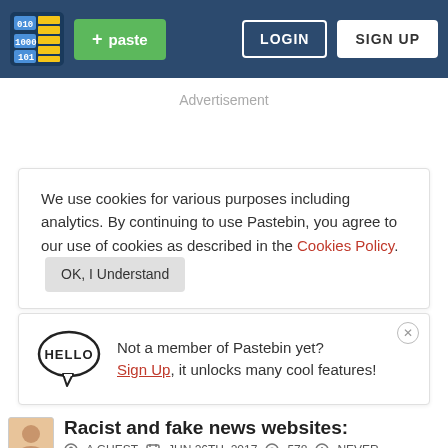Pastebin navigation bar with logo, + paste button, LOGIN and SIGN UP buttons
Advertisement
We use cookies for various purposes including analytics. By continuing to use Pastebin, you agree to our use of cookies as described in the Cookies Policy. OK, I Understand
Not a member of Pastebin yet? Sign Up, it unlocks many cool features!
Racist and fake news websites:
A GUEST   JUN 26TH, 2017   578   NEVER
Not a member of Pastebin yet? Sign Up, it unlocks many cool features!